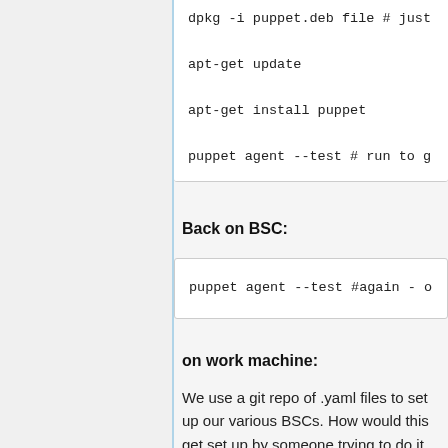dpkg -i puppet.deb file # just
apt-get update
apt-get install puppet
puppet agent --test # run to g
Back on BSC:
puppet agent --test #again - o
on work machine:
We use a git repo of .yaml files to set up our various BSCs. How would this get set up by someone trying to do it